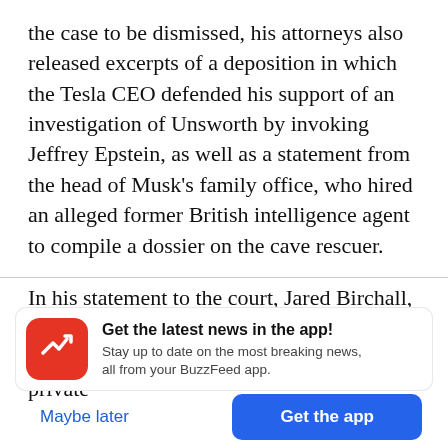the case to be dismissed, his attorneys also released excerpts of a deposition in which the Tesla CEO defended his support of an investigation of Unsworth by invoking Jeffrey Epstein, as well as a statement from the head of Musk's family office, who hired an alleged former British intelligence agent to compile a dossier on the cave rescuer.
In his statement to the court, Jared Birchall, president of Excession LLC, Musk's family office, wrote that he hired James Howard, a private
[Figure (other): BuzzFeed app promotional banner with a red circular icon with a white trending arrow, headline 'Get the latest news in the app!', and subtext 'Stay up to date on the most breaking news, all from your BuzzFeed app.']
Maybe later
Get the app